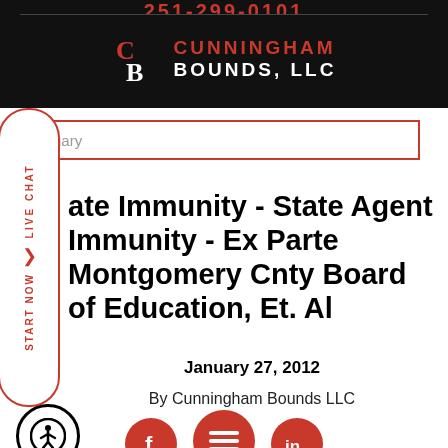Cunningham Bounds, LLC
State Immunity - State Agent Immunity - Ex Parte Montgomery County Board of Education, Et. Al
January 27, 2012
By Cunningham Bounds LLC